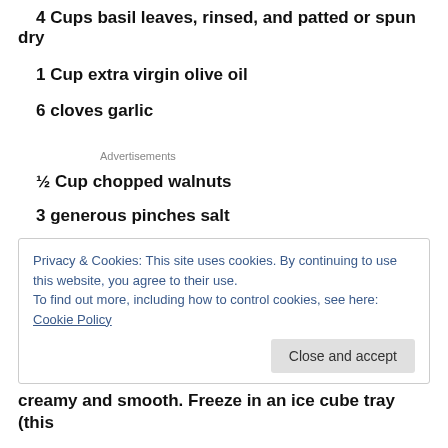4 Cups basil leaves, rinsed, and patted or spun dry
1 Cup extra virgin olive oil
6 cloves garlic
Advertisements
½ Cup chopped walnuts
3 generous pinches salt
Privacy & Cookies: This site uses cookies. By continuing to use this website, you agree to their use.
To find out more, including how to control cookies, see here: Cookie Policy
creamy and smooth. Freeze in an ice cube tray (this